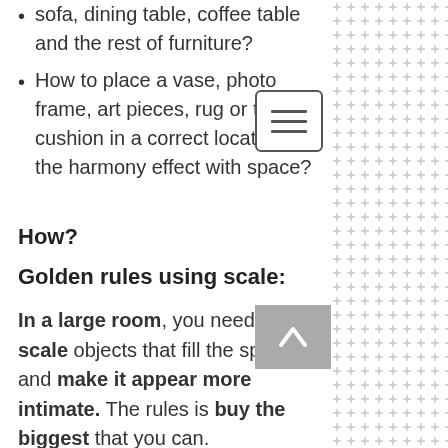sofa, dining table, coffee table and the rest of furniture?
How to place a vase, photo frame, art pieces, rug or the cushion in a correct location with the harmony effect with space?
How?
Golden rules using scale:
In a large room, you need large-scale objects that fill the space and make it appear more intimate. The rules is buy the biggest that you can.